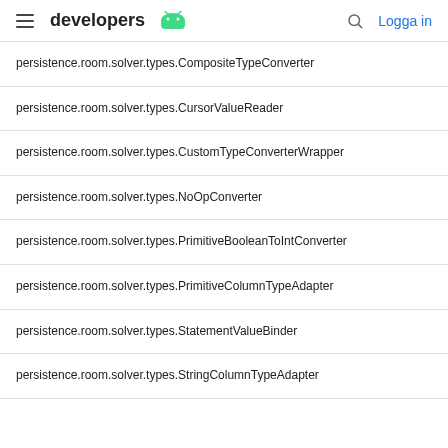developers [android logo] | Logga in
persistence.room.solver.types.CompositeTypeConverter
persistence.room.solver.types.CursorValueReader
persistence.room.solver.types.CustomTypeConverterWrapper
persistence.room.solver.types.NoOpConverter
persistence.room.solver.types.PrimitiveBooleanToIntConverter
persistence.room.solver.types.PrimitiveColumnTypeAdapter
persistence.room.solver.types.StatementValueBinder
persistence.room.solver.types.StringColumnTypeAdapter